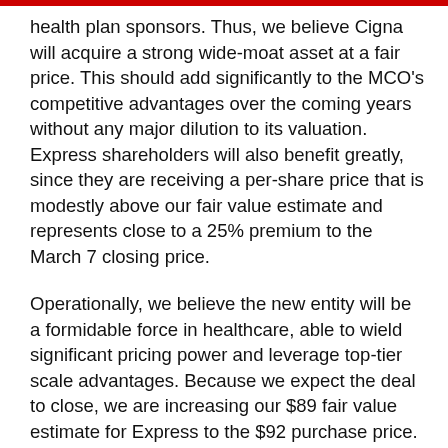health plan sponsors. Thus, we believe Cigna will acquire a strong wide-moat asset at a fair price. This should add significantly to the MCO’s competitive advantages over the coming years without any major dilution to its valuation. Express shareholders will also benefit greatly, since they are receiving a per-share price that is modestly above our fair value estimate and represents close to a 25% premium to the March 7 closing price.
Operationally, we believe the new entity will be a formidable force in healthcare, able to wield significant pricing power and leverage top-tier scale advantages. Because we expect the deal to close, we are increasing our $89 fair value estimate for Express to the $92 purchase price. We may increase our $123 fair value estimate for Cigna, given that the MCO will ultimately be able to leverage the wide-moat nature of the PBM model